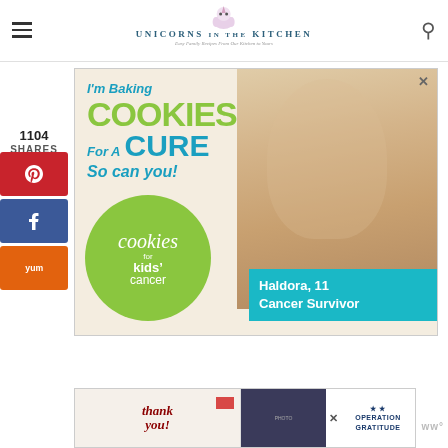Unicorns in the Kitchen - Easy Family Recipes From Our Kitchen to Yours
1104
SHARES
[Figure (infographic): Cookies for Kids Cancer ad: 'I'm Baking COOKIES For A CURE So can you!' with a girl holding a cookie dish, green circle logo, and teal box reading 'Haldora, 11 Cancer Survivor']
[Figure (infographic): Operation Gratitude thank you banner ad with firefighters in background]